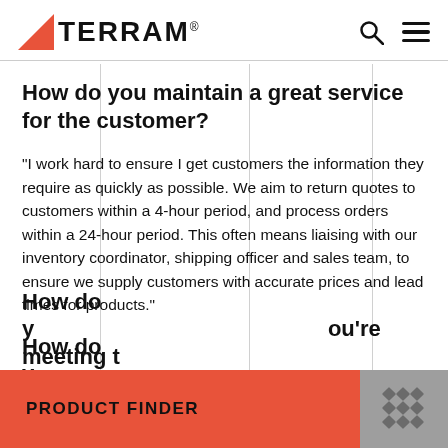TERRAM
How do you maintain a great service for the customer?
“I work hard to ensure I get customers the information they require as quickly as possible. We aim to return quotes to customers within a 4-hour period, and process orders within a 24-hour period. This often means liaising with our inventory coordinator, shipping officer and sales team, to ensure we supply customers with accurate prices and lead times for products.”
How do you... you’re meeting t...
PRODUCT FINDER